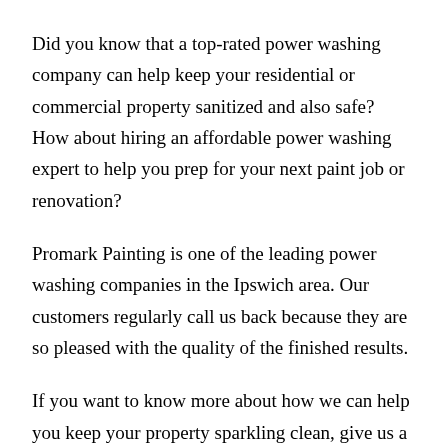Did you know that a top-rated power washing company can help keep your residential or commercial property sanitized and also safe? How about hiring an affordable power washing expert to help you prep for your next paint job or renovation?
Promark Painting is one of the leading power washing companies in the Ipswich area. Our customers regularly call us back because they are so pleased with the quality of the finished results.
If you want to know more about how we can help you keep your property sparkling clean, give us a call today at (978) 887-3355!